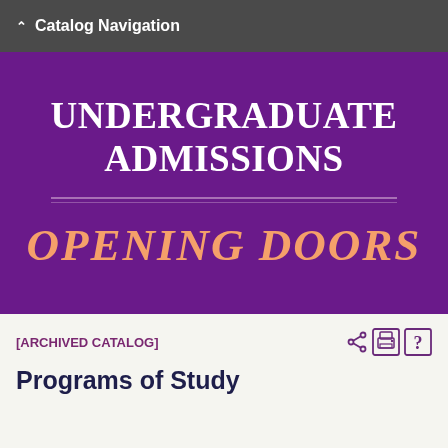Catalog Navigation
[Figure (illustration): University Undergraduate Admissions banner with purple background, showing 'UNDERGRADUATE ADMISSIONS' in white serif bold text and 'OPENING DOORS' in italic salmon/peach colored text, separated by a decorative double line divider.]
[ARCHIVED CATALOG]
Programs of Study